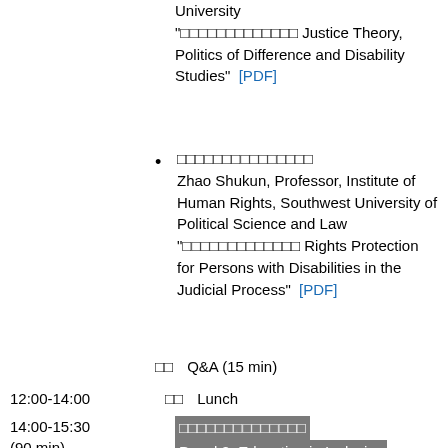University "□□□□□□□□□□□□□ Justice Theory, Politics of Difference and Disability Studies" [PDF]
□□□□□□□□□□□□□□□ Zhao Shukun, Professor, Institute of Human Rights, Southwest University of Political Science and Law "□□□□□□□□□□□□□ Rights Protection for Persons with Disabilities in the Judicial Process" [PDF]
□□ Q&A (15 min)
12:00-14:00 □□ Lunch
□□□□□□□□□□□□□ Panel 2: Education in Inclusive Society
14:00-15:30 (90 min)
□□□ Moderator□